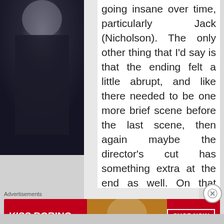[Figure (photo): Dark moody image on the left side, appears to be a scene from a horror film (The Shining), showing a dark figure against a dim background]
going insane over time, particularly Jack (Nicholson). The only other thing that I'd say is that the ending felt a little abrupt, and like there needed to be one more brief scene before the last scene, then again maybe the director's cut has something extra at the end as well. On that note, so much of this movie is left up to the viewers' interpretations, especially with the ending. So each person will probably get something different out of it from each other.
Advertisements
[Figure (photo): Macy's advertisement banner with red background showing 'KISS BORING LIPS GOODBYE' text with SHOP NOW button and Macy's star logo, featuring a woman's face with red lipstick]